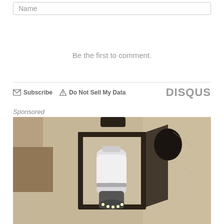Name
Be the first to comment.
Subscribe   Do Not Sell My Data   DISQUS
Sponsored
[Figure (photo): Outdoor lantern-style wall light fixture mounted on a stone/stucco wall, with a white bulb/camera device installed inside the black metal frame lantern, showing LED lights at the bottom.]